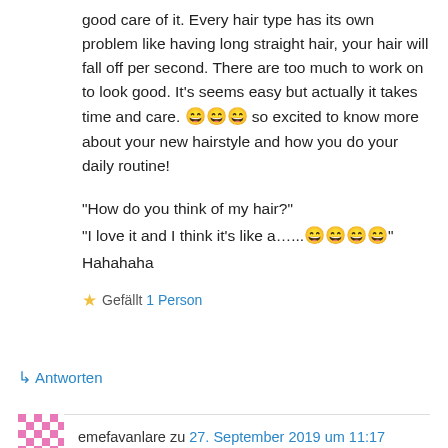good care of it. Every hair type has its own problem like having long straight hair, your hair will fall off per second. There are too much to work on to look good. It's seems easy but actually it takes time and care. 😄😄😄 so excited to know more about your new hairstyle and how you do your daily routine!
“How do you think of my hair?”
“I love it and I think it’s like a…..😄😄😄😄”
Hahahaha
★ Gefällt 1 Person
↳ Antworten
emefavanlare zu 27. September 2019 um 11:17